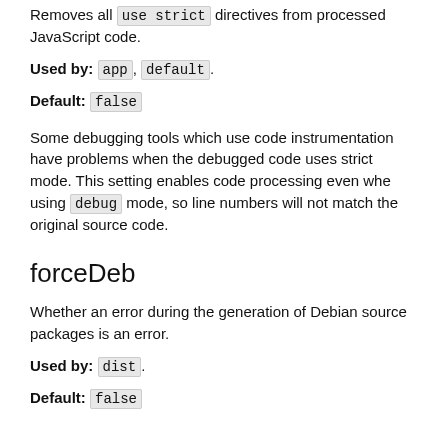Removes all `use strict` directives from processed JavaScript code.
Used by: app, default.
Default: false
Some debugging tools which use code instrumentation have problems when the debugged code uses strict mode. This setting enables code processing even whe using `debug` mode, so line numbers will not match the original source code.
forceDeb
Whether an error during the generation of Debian source packages is an error.
Used by: dist.
Default: false